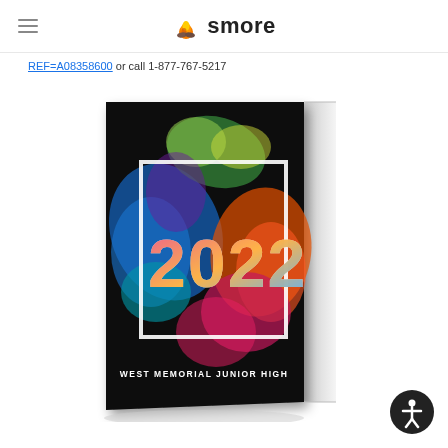smore
REF=A08358600 or call 1-877-767-5217
[Figure (photo): A 2022 yearbook with a colorful paint splash design on a black cover, showing '2022' in large text and 'WEST MEMORIAL JUNIOR HIGH' at the bottom. The book is shown in a 3D perspective angle with a white spine visible on the right.]
[Figure (illustration): Accessibility icon button (person with arms out in a circle) in bottom-right corner]